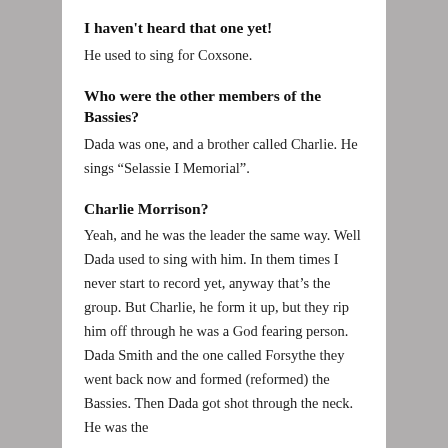I haven't heard that one yet!
He used to sing for Coxsone.
Who were the other members of the Bassies?
Dada was one, and a brother called Charlie. He sings “Selassie I Memorial”.
Charlie Morrison?
Yeah, and he was the leader the same way. Well Dada used to sing with him. In them times I never start to record yet, anyway that's the group. But Charlie, he form it up, but they rip him off through he was a God fearing person. Dada Smith and the one called Forsythe they went back now and formed (reformed) the Bassies. Then Dada got shot through the neck. He was the